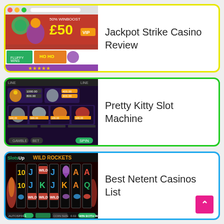[Figure (screenshot): Screenshot of Jackpot Strike Casino website with Christmas themed banner showing 50% WINBOOST £50 promotion and game thumbnails]
Jackpot Strike Casino Review
[Figure (screenshot): Screenshot of Pretty Kitty slot machine game showing cat-themed symbols and paytable on dark purple background]
Pretty Kitty Slot Machine
[Figure (screenshot): Screenshot of Wild Rockets slot machine game on SlotsUp showing playing card symbols J, Q, K, A on dark background]
Best Netent Casinos List